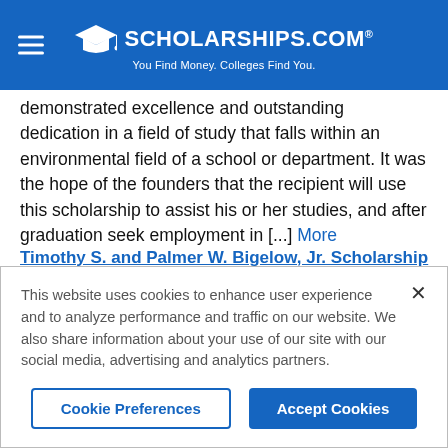SCHOLARSHIPS.COM® — You Find Money. Colleges Find You.
demonstrated excellence and outstanding dedication in a field of study that falls within an environmental field of a school or department. It was the hope of the founders that the recipient will use this scholarship to assist his or her studies, and after graduation seek employment in [...] More
Timothy S. and Palmer W. Bigelow, Jr. Scholarship
Application Deadline: 9/10/2022
Amount: $2,000
This website uses cookies to enhance user experience and to analyze performance and traffic on our website. We also share information about your use of our site with our social media, advertising and analytics partners.